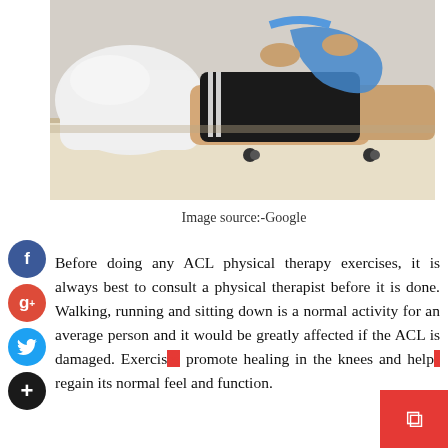[Figure (photo): Person lying on a treatment table performing a physical therapy exercise, pulling a resistance band around their knee/leg. Wearing black athletic shorts and white t-shirt.]
Image source:-Google
Before doing any ACL physical therapy exercises, it is always best to consult a physical therapist before it is done. Walking, running and sitting down is a normal activity for an average person and it would be greatly affected if the ACL is damaged. Exercises promote healing in the knees and help regain its normal feel and function.